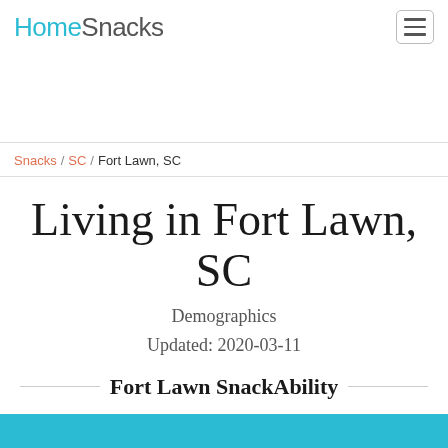HomeSnacks
Snacks / SC / Fort Lawn, SC
Living in Fort Lawn, SC
Demographics
Updated: 2020-03-11
Fort Lawn SnackAbility